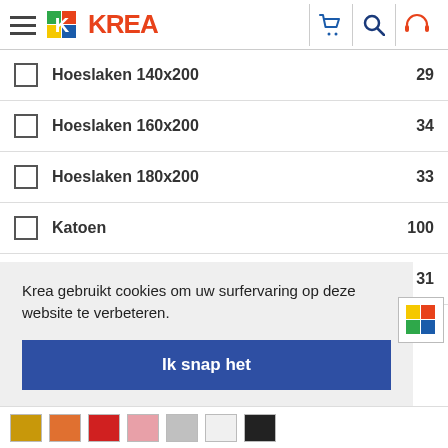KREA – navigation header with logo, cart, search, support icons
Hoeslaken 140x200  29
Hoeslaken 160x200  34
Hoeslaken 180x200  33
Katoen  100
Jersey  31
27
Krea gebruikt cookies om uw surfervaring op deze website te verbeteren.
Ik snap het